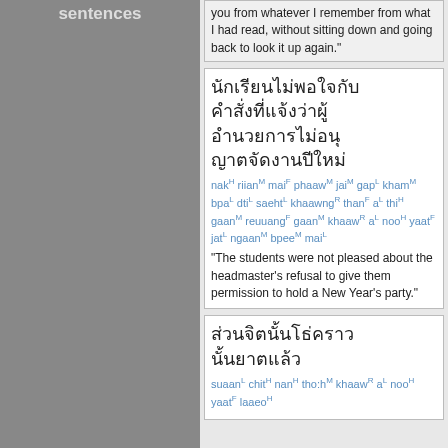sentences
you from whatever I remember from what I had read, without sitting down and going back to look it up again."
นักเรียนไม่พอใจกับการที่ผู้อำนวยการโรงเรียนไม่อนุญาตให้พวกเขาจัดงานปีใหม่
nakH riianM maiF phaawM jaiM gapL khamM bpaL dtiL saehtL khaawngR thanF aL thiH gaanM reuuangF gaanM khaawR aL nooH yaatF jatL ngaanM bpeeM maiL
"The students were not pleased about the headmaster's refusal to give them permission to hold a New Year's party."
ส่วนจิตนั้นโธ่คาวร์อ...นูยาตแล้ว
suaanL chitH nanH tho:hM khaawR aL nooH yaatF laaeoH